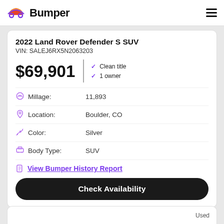Bumper
2022 Land Rover Defender S SUV
VIN: SALEJ6RX5N2063203
$69,901
Clean title
1 owner
Millage: 11,893
Location: Boulder, CO
Color: Silver
Body Type: SUV
View Bumper History Report
Check Availability
Used